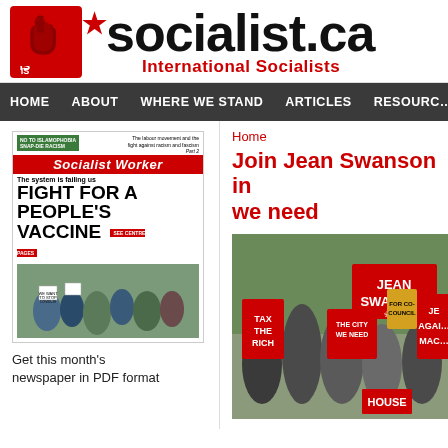[Figure (logo): socialist.ca International Socialists logo with red raised fist and IS banner]
HOME   ABOUT   WHERE WE STAND   ARTICLES   RESOURCES
[Figure (photo): Socialist Worker newspaper front cover: 'FIGHT FOR A PEOPLE'S VACCINE' with photo of protesters]
Get this month's newspaper in PDF format
Home
Join Jean Swanson in the city we need
[Figure (photo): Photo of protesters holding signs including 'Jean Swanson', 'Tax the Rich', 'The City We Need', 'Jean Against Mac']